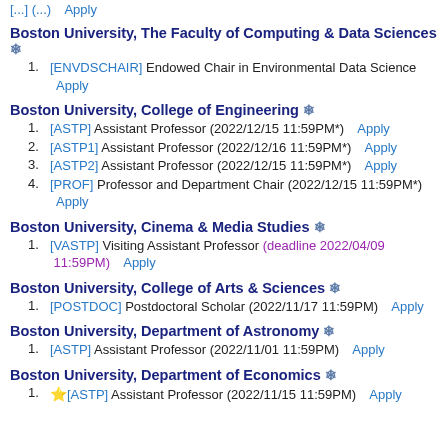[...] (deadline ... ) Apply
Boston University, The Faculty of Computing & Data Sciences ❄
1. [ENVDSCHAIR] Endowed Chair in Environmental Data Science Apply
Boston University, College of Engineering ❄
1. [ASTP] Assistant Professor (2022/12/15 11:59PM*)   Apply
2. [ASTP1] Assistant Professor (2022/12/16 11:59PM*)   Apply
3. [ASTP2] Assistant Professor (2022/12/15 11:59PM*)   Apply
4. [PROF] Professor and Department Chair (2022/12/15 11:59PM*) Apply
Boston University, Cinema & Media Studies ❄
1. [VASTP] Visiting Assistant Professor (deadline 2022/04/09 11:59PM)   Apply
Boston University, College of Arts & Sciences ❄
1. [POSTDOC] Postdoctoral Scholar (2022/11/17 11:59PM)   Apply
Boston University, Department of Astronomy ❄
1. [ASTP] Assistant Professor (2022/11/01 11:59PM)   Apply
Boston University, Department of Economics ❄
1. ⭐[ASTP] Assistant Professor (2022/11/15 11:59PM)   Apply